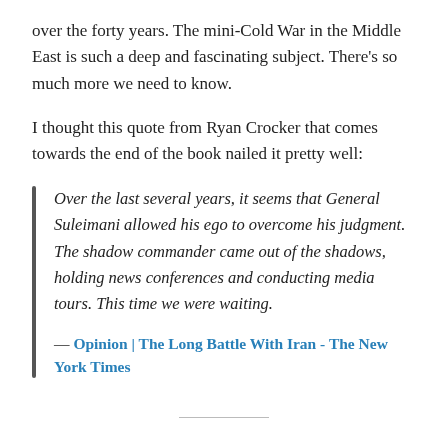over the forty years. The mini-Cold War in the Middle East is such a deep and fascinating subject. There's so much more we need to know.
I thought this quote from Ryan Crocker that comes towards the end of the book nailed it pretty well:
Over the last several years, it seems that General Suleimani allowed his ego to overcome his judgment. The shadow commander came out of the shadows, holding news conferences and conducting media tours. This time we were waiting.
— Opinion | The Long Battle With Iran - The New York Times